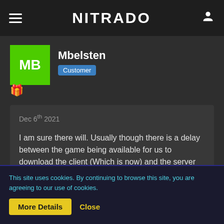NITRADO
[Figure (screenshot): User profile avatar with initials MB on green background]
Mbelsten
Customer
Dec 6th 2021
I am sure there will. Usually though there is a delay between the game being available for us to download the client (Which is now) and the server side version hitting.

Just a case of patience guys....
This site uses cookies. By continuing to browse this site, you are agreeing to our use of cookies.
More Details
Close